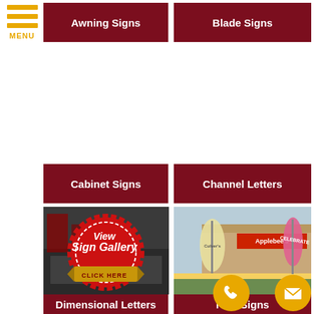[Figure (infographic): Hamburger menu icon with three yellow horizontal bars and MENU text below in yellow]
Awning Signs
Blade Signs
Cabinet Signs
Channel Letters
[Figure (infographic): View Sign Gallery - Click Here badge in red and gold seal style over photo of channel letter signs]
[Figure (photo): Photo of feather/blade flags and Applebee's restaurant exterior with teardrop flags]
Dimensional Letters
Flag Signs
[Figure (infographic): Yellow circle phone icon]
[Figure (infographic): Yellow circle email/envelope icon]